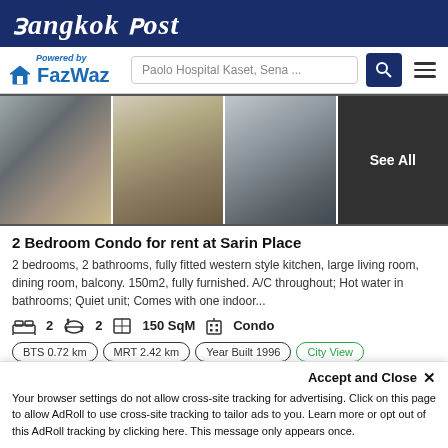Bangkok Post
[Figure (logo): FazWaz logo with house icon and search bar showing 'Paolo Hospital Kaset, Sena ...']
[Figure (photo): Four property photos: kitchen, bedroom, bathroom, and a dark 'See All' overlay]
2 Bedroom Condo for rent at Sarin Place
2 bedrooms, 2 bathrooms, fully fitted western style kitchen, large living room, dining room, balcony. 150m2, fully furnished. A/C throughout; Hot water in bathrooms; Quiet unit; Comes with one indoor...
2  2  150 SqM  Condo
BTS 0.72 km  MRT 2.42 km  Year Built 1996  City View  Unblocked Open View  Fully Renovated  Terrace  Balcony
Min. Rental Duration: At least one year
Accept and Close ×
Your browser settings do not allow cross-site tracking for advertising. Click on this page to allow AdRoll to use cross-site tracking to tailor ads to you. Learn more or opt out of this AdRoll tracking by clicking here. This message only appears once.